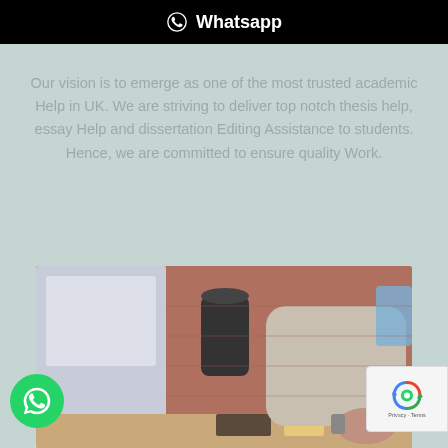⊙ Whatsapp
Our vision is to emerge as one of the most trusted academic Help in UK. We are striving to deliver top notch thesis help, essay Help and dissertation Editing Assistance to students. Hence, we are committed to ensure quality Work.
[Figure (photo): Person working at a laptop on a desk with a mug and notebook, brick wall background]
[Figure (logo): WhatsApp floating action button (green circle with phone icon)]
[Figure (logo): reCAPTCHA badge with Privacy and Terms text]